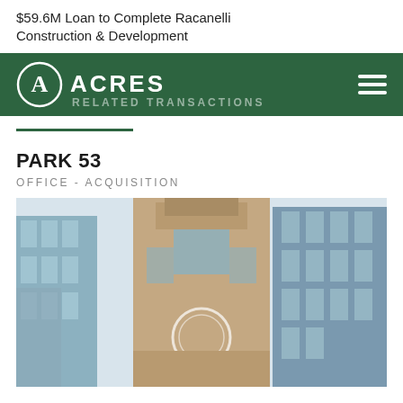$59.6M Loan to Complete Racanelli Construction & Development
[Figure (logo): ACRES company logo on dark green navigation bar with hamburger menu icon and RELATED TRANSACTIONS text]
RELATED TRANSACTIONS
PARK 53
OFFICE - ACQUISITION
[Figure (photo): Urban office buildings photographed from below looking up, featuring a prominent tower with art deco styling and a circular logo/emblem on its facade, surrounded by modern glass skyscrapers]